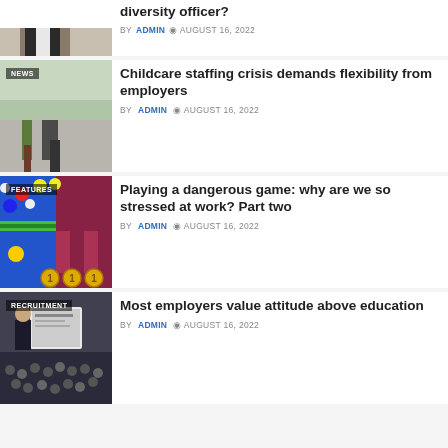[Figure (photo): Man in suit at desk, partial crop, top of article]
diversity officer?
BY ADMIN © AUGUST 16, 2022
[Figure (photo): Adult and child walking, person carrying briefcase, NEWS badge]
Childcare staffing crisis demands flexibility from employers
BY ADMIN © AUGUST 16, 2022
[Figure (photo): Colorful video game screenshot with balloons and platforms, FEATURES badge]
Playing a dangerous game: why are we so stressed at work? Part two
BY ADMIN © AUGUST 16, 2022
[Figure (photo): Conference room with presenter and audience, RECRUITMENT badge]
Most employers value attitude above education
BY ADMIN © AUGUST 16, 2022